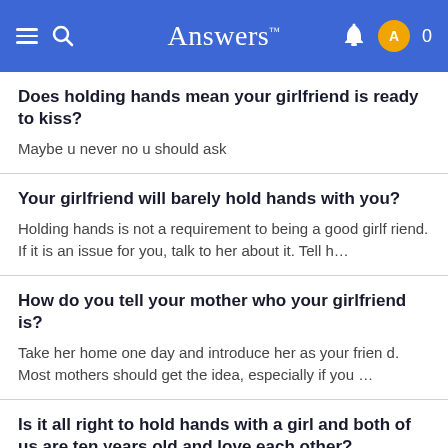Answers
Does holding hands mean your girlfriend is ready to kiss?
Maybe u never no u should ask
Your girlfriend will barely hold hands with you?
Holding hands is not a requirement to being a good girlfriend. If it is an issue for you, talk to her about it. Tell h…
How do you tell your mother who your girlfriend is?
Take her home one day and introduce her as your friend. Most mothers should get the idea, especially if you …
Is it all right to hold hands with a girl and both of us are ten years old and love each other?
I see nothing wrong with holding hands. HOLDING HAN